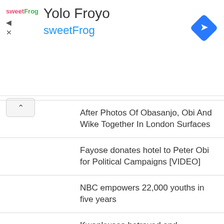[Figure (logo): SweetFrog frozen yogurt advertisement banner with logo, brand name 'Yolo Froyo', 'sweetFrog' subtitle in blue, and a blue diamond navigation icon in top right]
After Photos Of Obasanjo, Obi And Wike Together In London Surfaces
Fayose donates hotel to Peter Obi for Political Campaigns [VIDEO]
NBC empowers 22,000 youths in five years
Kwankwaso betrayed and humiliated me, Shekarau says as he announces NNPP exit
Panic as ‘Unknown Gunmen’ kill Army Major in Anambra
Gov. Sule reacts as 6 Kwankwaso’s supporters die in Nasarawa
Businessman Feared Killed For Resisting Abduction In Nnewi